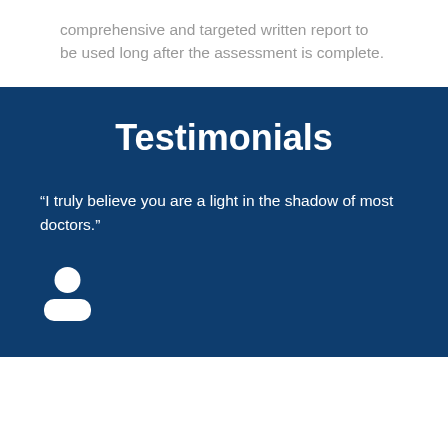comprehensive and targeted written report to be used long after the assessment is complete.
Testimonials
“I truly believe you are a light in the shadow of most doctors.”
[Figure (illustration): White person/user icon silhouette on dark blue background]